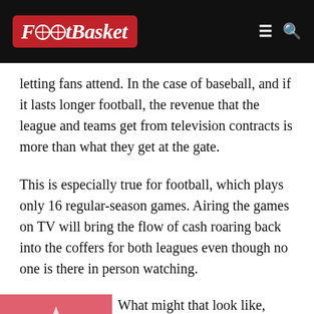FootBasket
letting fans attend. In the case of baseball, and if it lasts longer football, the revenue that the league and teams get from television contracts is more than what they get at the gate.
This is especially true for football, which plays only 16 regular-season games. Airing the games on TV will bring the flow of cash roaring back into the coffers for both leagues even though no one is there in person watching.
[Figure (illustration): Red thumbnail image with white star/arrow shape]
What might that look like, though? It will be odd, to say the least. Would the greatest moments in sports history be